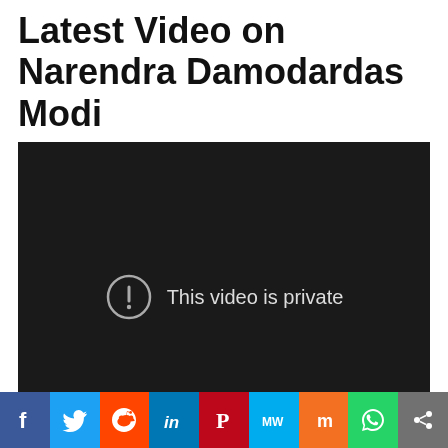Latest Video on Narendra Damodardas Modi
[Figure (screenshot): Embedded video player showing a dark/black screen with a circle exclamation icon and the message 'This video is private']